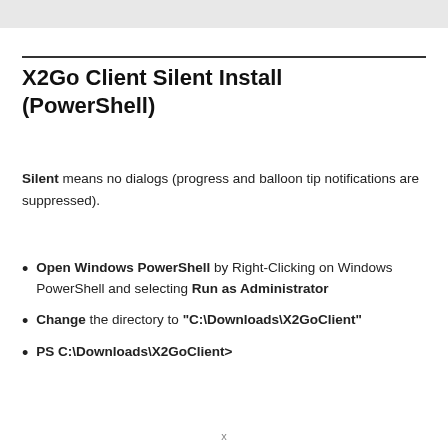X2Go Client Silent Install (PowerShell)
Silent means no dialogs (progress and balloon tip notifications are suppressed).
Open Windows PowerShell by Right-Clicking on Windows PowerShell and selecting Run as Administrator
Change the directory to “C:\Downloads\X2GoClient”
PS C:\Downloads\X2GoClient>